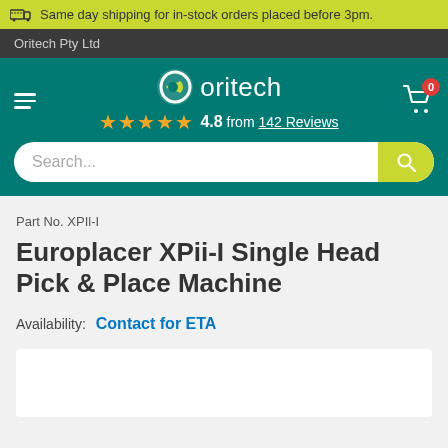Same day shipping for in-stock orders placed before 3pm.
Oritech Pty Ltd
[Figure (logo): Oritech logo with circular green icon and star rating 4.8 from 142 Reviews]
Part No. XPIl-I
Europlacer XPii-I Single Head Pick & Place Machine
Availability: Contact for ETA